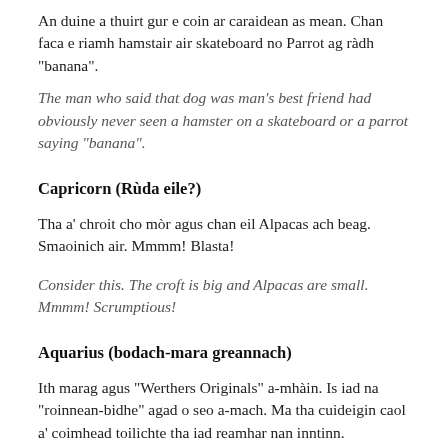An duine a thuirt gur e coin ar caraidean as mean. Chan faca e riamh hamstair air skateboard no Parrot ag ràdh “banana”.
The man who said that dog was man’s best friend had obviously never seen a hamster on a skateboard or a parrot saying “banana”.
Capricorn (Rùda eile?)
Tha a’ chroit cho mòr agus chan eil Alpacas ach beag. Smaoinich air. Mmmm! Blasta!
Consider this. The croft is big and Alpacas are small. Mmmm! Scrumptious!
Aquarius (bodach-mara greannach)
Ith marag agus “Werthers Originals” a-mhàin. Is iad na “roinnean-bidhe” agad o seo a-mach. Ma tha cuideigin caol a’ coimhead toilichte tha iad reamhar nan inntinn.
Only eat black pudding and “Werthers Originals”. They are now your